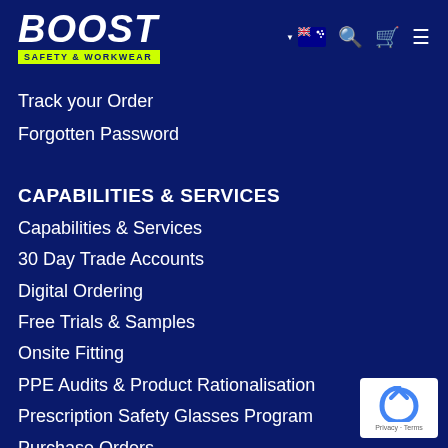[Figure (logo): Boost Safety & Workwear logo with yellow tagline bar]
Track your Order
Forgotten Password
CAPABILITIES & SERVICES
Capabilities & Services
30 Day Trade Accounts
Digital Ordering
Free Trials & Samples
Onsite Fitting
PPE Audits & Product Rationalisation
Prescription Safety Glasses Program
Purchase Orders
Request a Quotation